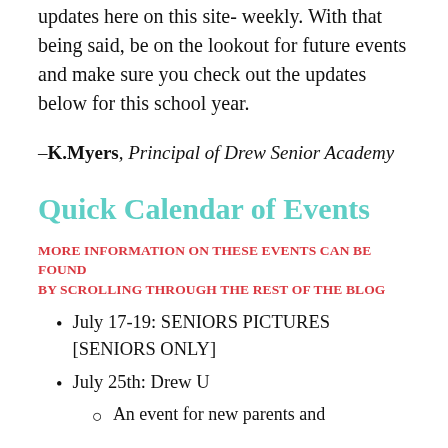updates here on this site- weekly. With that being said, be on the lookout for future events and make sure you check out the updates below for this school year.
–K.Myers, Principal of Drew Senior Academy
Quick Calendar of Events
MORE INFORMATION ON THESE EVENTS CAN BE FOUND BY SCROLLING THROUGH THE REST OF THE BLOG
July 17-19: SENIORS PICTURES [SENIORS ONLY]
July 25th: Drew U
An event for new parents and